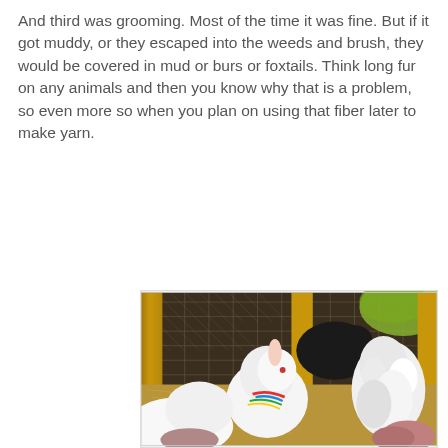And third was grooming. Most of the time it was fine. But if it got muddy, or they escaped into the weeds and brush, they would be covered in mud or burs or foxtails. Think long fur on any animals and then you know why that is a problem, so even more so when you plan on using that fiber later to make yarn.
[Figure (photo): Photo of fluffy white rabbits (angora rabbits) inside a wooden enclosure with chicken wire fencing. The rabbits have long white fur. One rabbit in the foreground has a colorful harness/leash. There is hay on the ground and wooden posts visible.]